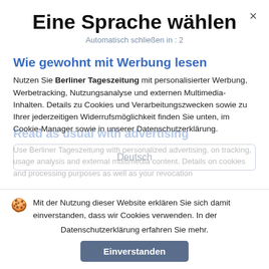Eine Sprache wählen
Automatisch schließen in : 2
Wie gewohnt mit Werbung lesen
Nutzen Sie Berliner Tageszeitung mit personalisierter Werbung, Werbetracking, Nutzungsanalyse und externen Multimedia-Inhalten. Details zu Cookies und Verarbeitungszwecken sowie zu Ihrer jederzeitigen Widerrufsmöglichkeit finden Sie unten, im Cookie-Manager sowie in unserer Datenschutzerklärung.
Deutsch
Mit der Nutzung dieser Website erklären Sie sich damit einverstanden, dass wir Cookies verwenden. In der Datenschutzerklärung erfahren Sie mehr.
Einverstanden